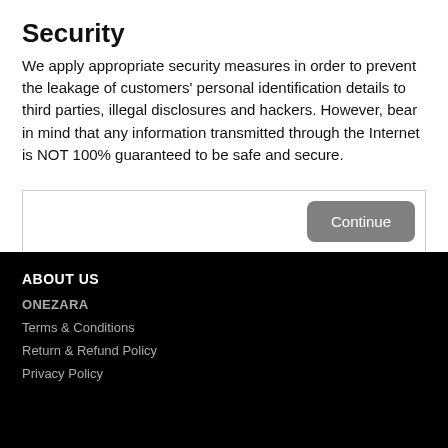Security
We apply appropriate security measures in order to prevent the leakage of customers' personal identification details to third parties, illegal disclosures and hackers. However, bear in mind that any information transmitted through the Internet is NOT 100% guaranteed to be safe and secure.
Continue
ABOUT US
ONEZARA
Terms & Conditions
Return & Refund Policy
Privacy Policy